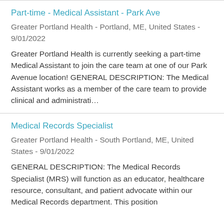Part-time - Medical Assistant - Park Ave
Greater Portland Health - Portland, ME, United States - 9/01/2022
Greater Portland Health is currently seeking a part-time Medical Assistant to join the care team at one of our Park Avenue location! GENERAL DESCRIPTION: The Medical Assistant works as a member of the care team to provide clinical and administrati…
Medical Records Specialist
Greater Portland Health - South Portland, ME, United States - 9/01/2022
GENERAL DESCRIPTION: The Medical Records Specialist (MRS) will function as an educator, healthcare resource, consultant, and patient advocate within our Medical Records department. This position